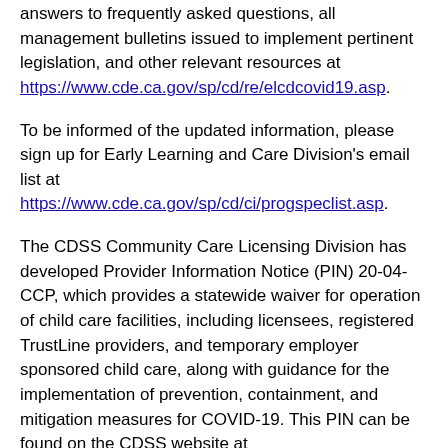answers to frequently asked questions, all management bulletins issued to implement pertinent legislation, and other relevant resources at https://www.cde.ca.gov/sp/cd/re/elcdcovid19.asp.
To be informed of the updated information, please sign up for Early Learning and Care Division's email list at https://www.cde.ca.gov/sp/cd/ci/progspeclist.asp.
The CDSS Community Care Licensing Division has developed Provider Information Notice (PIN) 20-04-CCP, which provides a statewide waiver for operation of child care facilities, including licensees, registered TrustLine providers, and temporary employer sponsored child care, along with guidance for the implementation of prevention, containment, and mitigation measures for COVID-19. This PIN can be found on the CDSS website at https://www.cdss.ca.gov/inforesources/community-care-licensing.